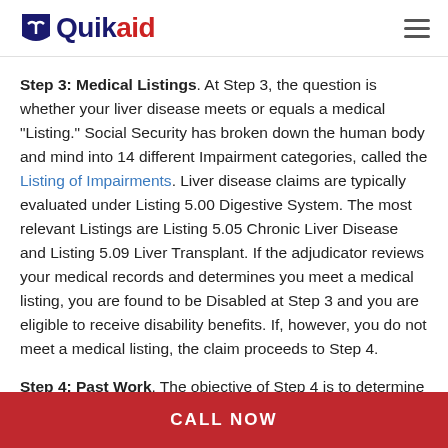Quikaid
Step 3: Medical Listings. At Step 3, the question is whether your liver disease meets or equals a medical "Listing." Social Security has broken down the human body and mind into 14 different Impairment categories, called the Listing of Impairments. Liver disease claims are typically evaluated under Listing 5.00 Digestive System. The most relevant Listings are Listing 5.05 Chronic Liver Disease and Listing 5.09 Liver Transplant. If the adjudicator reviews your medical records and determines you meet a medical listing, you are found to be Disabled at Step 3 and you are eligible to receive disability benefits. If, however, you do not meet a medical listing, the claim proceeds to Step 4.
Step 4: Past Work. The objective of Step 4 is to determine whether you have the ability to perform work you have
CALL NOW